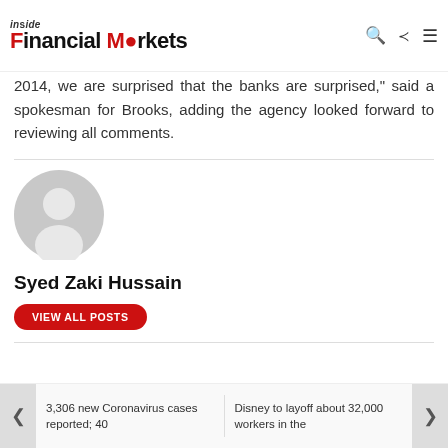Inside Financial Markets
2014, we are surprised that the banks are surprised," said a spokesman for Brooks, adding the agency looked forward to reviewing all comments.
[Figure (illustration): Generic user avatar: grey circle with white silhouette of a person (head and shoulders)]
Syed Zaki Hussain
VIEW ALL POSTS
3,306 new Coronavirus cases reported; 40
Disney to layoff about 32,000 workers in the